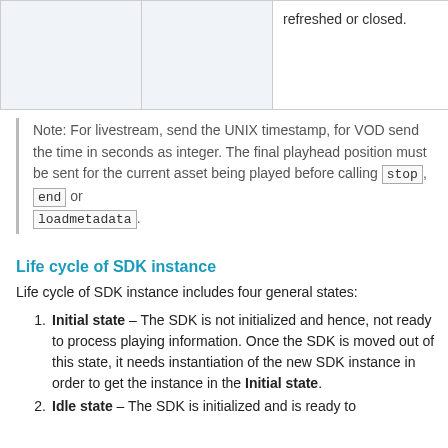|  |  | refreshed or closed. |
Note: For livestream, send the UNIX timestamp, for VOD send the time in seconds as integer. The final playhead position must be sent for the current asset being played before calling stop, end or loadmetadata.
Life cycle of SDK instance
Life cycle of SDK instance includes four general states:
Initial state – The SDK is not initialized and hence, not ready to process playing information. Once the SDK is moved out of this state, it needs instantiation of the new SDK instance in order to get the instance in the Initial state.
Idle state – The SDK is initialized and is ready to